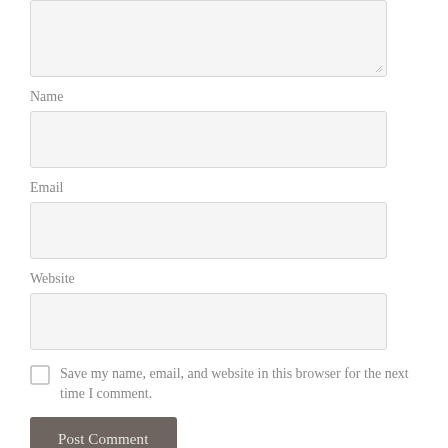[Figure (screenshot): Textarea input box (top portion cut off), partially visible with resize handle at bottom right]
Name
[Figure (screenshot): Name text input field, empty, light gray background]
Email
[Figure (screenshot): Email text input field, empty, light gray background]
Website
[Figure (screenshot): Website text input field, empty, light gray background]
Save my name, email, and website in this browser for the next time I comment.
[Figure (screenshot): Post Comment button, dark gray/brown background]
Notify me of new comments via email.